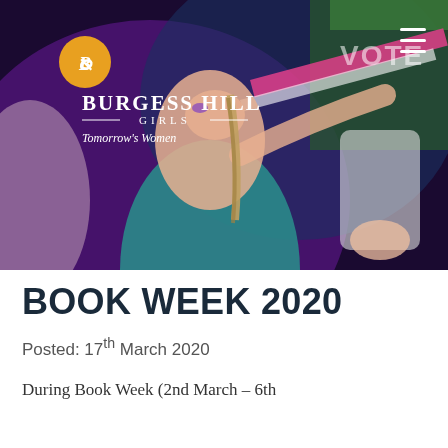[Figure (photo): A school performance/dance photo showing students on stage with dramatic lighting — purple and green tones. A girl in a teal top with braided hair is prominently featured. The Burgess Hill Girls school logo overlay appears top-left: a gold circle with 'B', the text 'BURGESS HILL' in large caps, 'GIRLS' flanked by lines, and 'Tomorrow's Women' in italic. A hamburger menu icon is top-right.]
BOOK WEEK 2020
Posted: 17th March 2020
During Book Week (2nd March – 6th